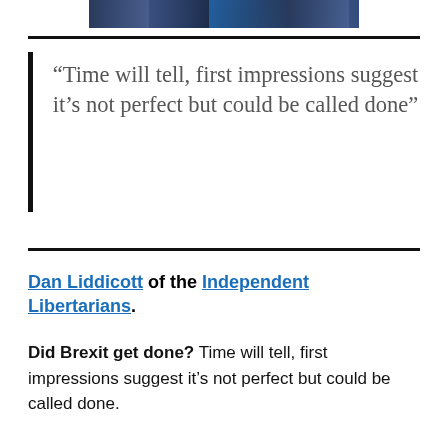[Figure (photo): Partial photo strip at the top of the page showing figures against a blue background]
“Time will tell, first impressions suggest it’s not perfect but could be called done”
Dan Liddicott of the Independent Libertarians.
Did Brexit get done? Time will tell, first impressions suggest it’s not perfect but could be called done.